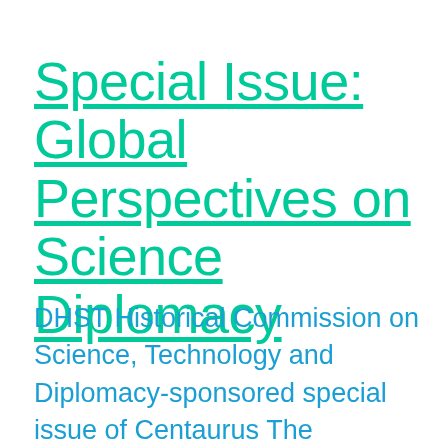Special Issue: Global Perspectives on Science Diplomacy
DHST Historical Commission on Science, Technology and Diplomacy-sponsored special issue of Centaurus The Commission is excited to announce the publication of our third special issue, 'Global Perspectives on Science Diplomacy'...